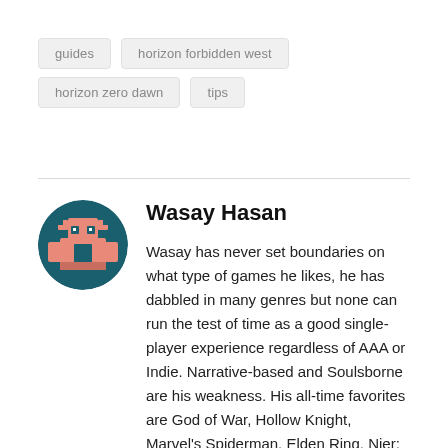guides
horizon forbidden west
horizon zero dawn
tips
Wasay Hasan
Wasay has never set boundaries on what type of games he likes, he has dabbled in many genres but none can run the test of time as a good single-player experience regardless of AAA or Indie. Narrative-based and Soulsborne are his weakness. His all-time favorites are God of War, Hollow Knight, Marvel's Spiderman, Elden Ring, Nier: Automata, Bloodborne and he can go on and on.